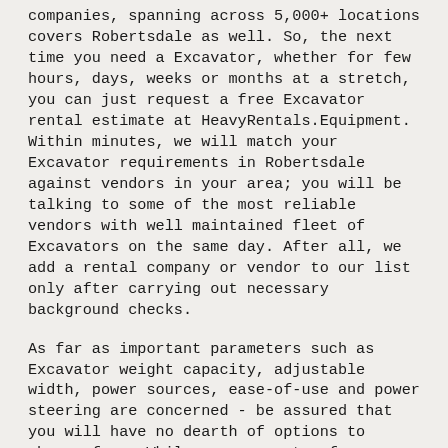companies, spanning across 5,000+ locations covers Robertsdale as well. So, the next time you need a Excavator, whether for few hours, days, weeks or months at a stretch, you can just request a free Excavator rental estimate at HeavyRentals.Equipment. Within minutes, we will match your Excavator requirements in Robertsdale against vendors in your area; you will be talking to some of the most reliable vendors with well maintained fleet of Excavators on the same day. After all, we add a rental company or vendor to our list only after carrying out necessary background checks.
As far as important parameters such as Excavator weight capacity, adjustable width, power sources, ease-of-use and power steering are concerned - be assured that you will have no dearth of options to choose from. While you request a free estimate at HeavyRentals.Equipment or narrate your requirements to our support staff by dialing our helpline number, you remain in total control of